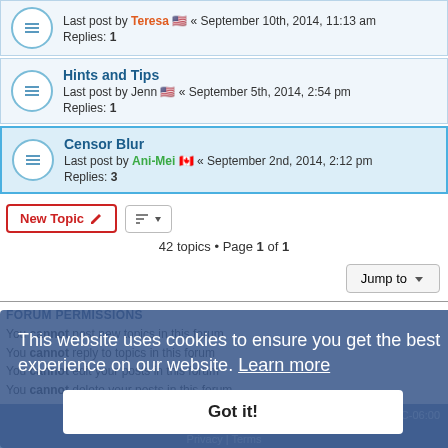Last post by Teresa « September 10th, 2014, 11:13 am
Replies: 1
Hints and Tips
Last post by Jenn « September 5th, 2014, 2:54 pm
Replies: 1
Censor Blur
Last post by Ani-Mei « September 2nd, 2014, 2:12 pm
Replies: 3
42 topics • Page 1 of 1
FORUM PERMISSIONS
You cannot post new topics in this forum
You cannot reply to topics in this forum
You cannot edit your posts in this forum
You cannot delete your posts in this forum
This website uses cookies to ensure you get the best experience on our website. Learn more
Got it!
Copyright © 2014 - 2022 All rights reserved.
Powered by phpBB® Forum Software © phpBB Limited
Privacy | Terms
UTC-06:00